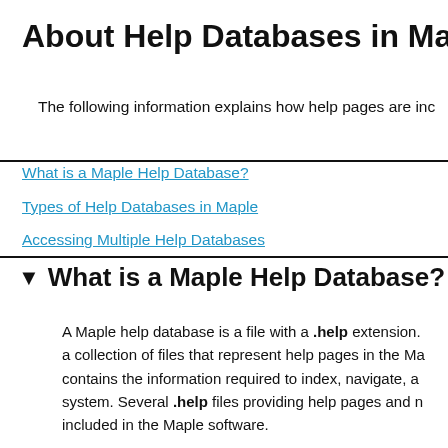About Help Databases in Maple
The following information explains how help pages are inc...
What is a Maple Help Database?
Types of Help Databases in Maple
Accessing Multiple Help Databases
▼ What is a Maple Help Database?
A Maple help database is a file with a .help extension. a collection of files that represent help pages in the Ma... contains the information required to index, navigate, a... system. Several .help files providing help pages and n... included in the Maple software.